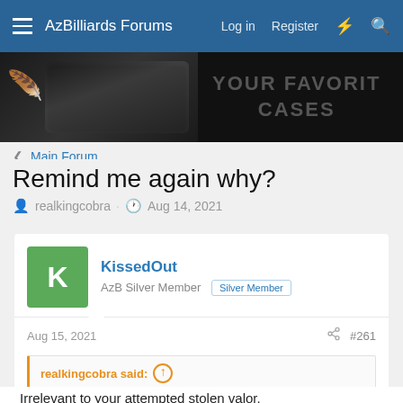AzBilliards Forums  Log in  Register
[Figure (photo): Dark banner advertisement showing a pool cue case with text 'YOUR FAVORITE CASES']
< Main Forum
Remind me again why?
realkingcobra · Aug 14, 2021
KissedOut
AzB Silver Member  Silver Member
Aug 15, 2021  #261
realkingcobra said: ↑
Just curious, did you enlist in the military while the Vietnam war was still going on, because I did! So, did you?
Irrelevant to your attempted stolen valor.